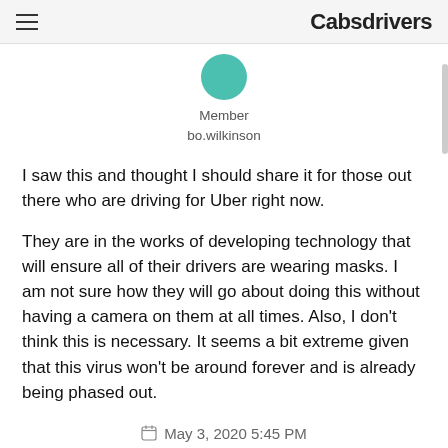Cabsdrivers
[Figure (illustration): Circular teal avatar icon for user bo.wilkinson]
Member
bo.wilkinson
I saw this and thought I should share it for those out there who are driving for Uber right now.
They are in the works of developing technology that will ensure all of their drivers are wearing masks. I am not sure how they will go about doing this without having a camera on them at all times. Also, I don't think this is necessary. It seems a bit extreme given that this virus won't be around forever and is already being phased out.
May 3, 2020 5:45 PM